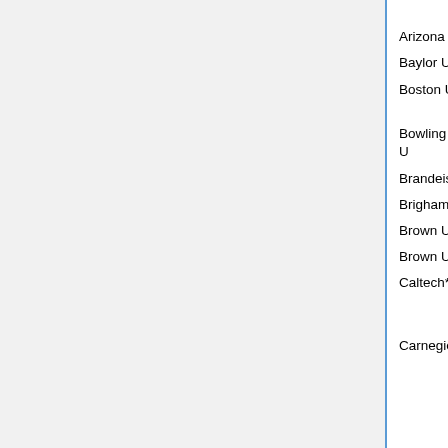| Institution | Type | Deadline | Offer |
| --- | --- | --- | --- |
| Arizona State U* |  |  | not offer |
| Baylor U* | postdoc | Nov 15 |  |
| Boston U* | postdoc (algebra/number theory) | Jan 2 |  |
| Bowling Green State U | Lukacs |  | next offer 2010 2011 |
| Brandeis U* | postdoc | Dec 1 |  |
| Brigham Young U | visiting |  | not offer |
| Brown U* | Tamarkin | Dec 1 | offer rejec |
| Brown U (a) | Prager | Dec 8 | rejec |
| Caltech* | Taussky/Todd, Bateman, Senior | Jan 1 | filled rejec |
| Carnegie | postdoc (applied | Jan |  |